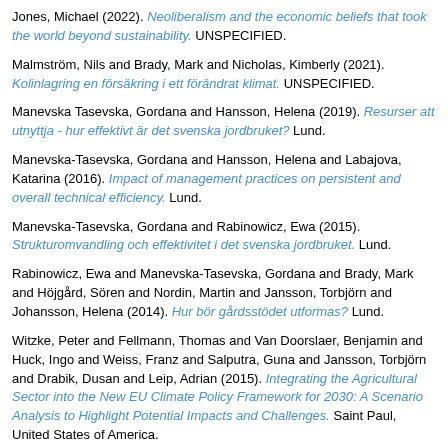Jones, Michael (2022). Neoliberalism and the economic beliefs that took the world beyond sustainability. UNSPECIFIED.
Malmström, Nils and Brady, Mark and Nicholas, Kimberly (2021). Kolinlagring en försäkring i ett förändrat klimat. UNSPECIFIED.
Manevska Tasevska, Gordana and Hansson, Helena (2019). Resurser att utnyttja - hur effektivt är det svenska jordbruket? Lund.
Manevska-Tasevska, Gordana and Hansson, Helena and Labajova, Katarina (2016). Impact of management practices on persistent and overall technical efficiency. Lund.
Manevska-Tasevska, Gordana and Rabinowicz, Ewa (2015). Strukturomvandling och effektivitet i det svenska jordbruket. Lund.
Rabinowicz, Ewa and Manevska-Tasevska, Gordana and Brady, Mark and Höjgård, Sören and Nordin, Martin and Jansson, Torbjörn and Johansson, Helena (2014). Hur bör gårdsstödet utformas? Lund.
Witzke, Peter and Fellmann, Thomas and Van Doorslaer, Benjamin and Huck, Ingo and Weiss, Franz and Salputra, Guna and Jansson, Torbjörn and Drabik, Dusan and Leip, Adrian (2015). Integrating the Agricultural Sector into the New EU Climate Policy Framework for 2030: A Scenario Analysis to Highlight Potential Impacts and Challenges. Saint Paul, United States of America.
Editorial
Ghosh, Ranjan K. and Otto, Ilona M. and Rommel, Jens (2022). Editorial: Food Security, Agricultural Productivity, and the Environment: Economic...